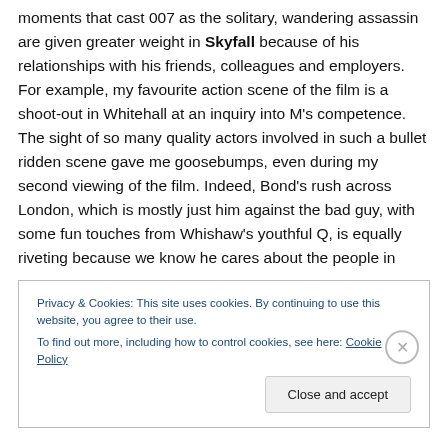moments that cast 007 as the solitary, wandering assassin are given greater weight in Skyfall because of his relationships with his friends, colleagues and employers. For example, my favourite action scene of the film is a shoot-out in Whitehall at an inquiry into M's competence. The sight of so many quality actors involved in such a bullet ridden scene gave me goosebumps, even during my second viewing of the film. Indeed, Bond's rush across London, which is mostly just him against the bad guy, with some fun touches from Whishaw's youthful Q, is equally riveting because we know he cares about the people in
Privacy & Cookies: This site uses cookies. By continuing to use this website, you agree to their use.
To find out more, including how to control cookies, see here: Cookie Policy